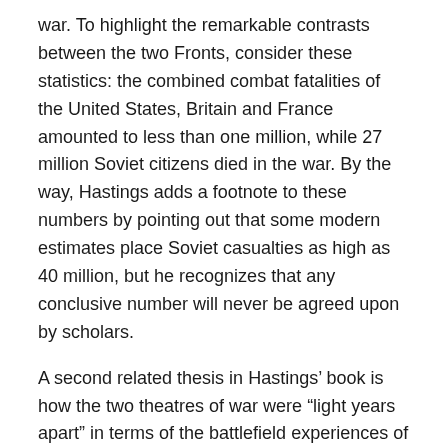war. To highlight the remarkable contrasts between the two Fronts, consider these statistics: the combined combat fatalities of the United States, Britain and France amounted to less than one million, while 27 million Soviet citizens died in the war. By the way, Hastings adds a footnote to these numbers by pointing out that some modern estimates place Soviet casualties as high as 40 million, but he recognizes that any conclusive number will never be agreed upon by scholars.
A second related thesis in Hastings' book is how the two theatres of war were “light years apart” in terms of the battlefield experiences of British and American soldiers as opposed to those of the Soviets. He puts it this way: “There was a chasm between the world of the Western allies, populated by men striving to act temperately, and the Eastern universe in which, on both sides, elemental passions dominated.”
Contrasting Fronts